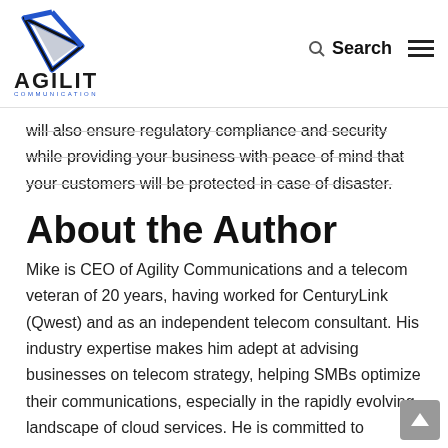[Figure (logo): Agility Communications logo with blue/silver arrow triangle graphic and bold AGILITY text with COMMUNICATIONS subtitle in blue]
Search ☰
will also ensure regulatory compliance and security while providing your business with peace of mind that your customers will be protected in case of disaster.
About the Author
Mike is CEO of Agility Communications and a telecom veteran of 20 years, having worked for CenturyLink (Qwest) and as an independent telecom consultant. His industry expertise makes him adept at advising businesses on telecom strategy, helping SMBs optimize their communications, especially in the rapidly evolving landscape of cloud services. He is committed to working with